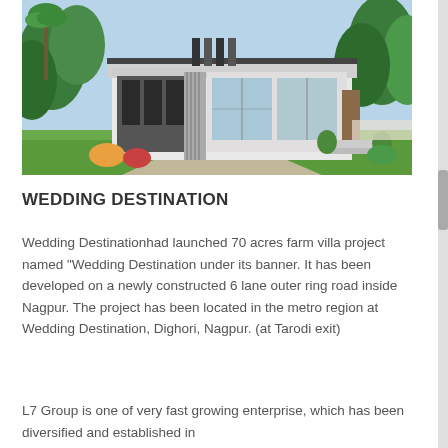[Figure (photo): Modern single-story house/villa with flat roof, large windows, surrounded by green trees and lawn, architectural rendering]
WEDDING DESTINATION
Wedding Destinationhad launched 70 acres farm villa project named "Wedding Destination under its banner. It has been developed on a newly constructed 6 lane outer ring road inside Nagpur. The project has been located in the metro region at Wedding Destination, Dighori, Nagpur. (at Tarodi exit)
L7 Group is one of very fast growing enterprise, which has been diversified and established in